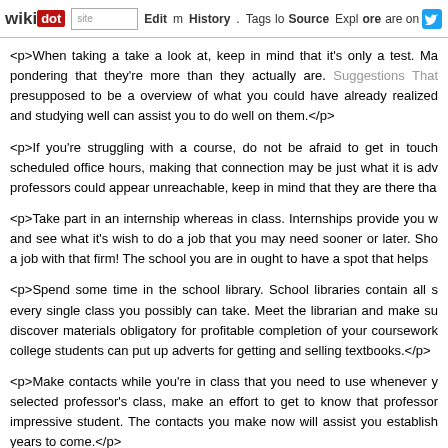wikidot | site | Edit | History | Tags | Source | Explore | Share on [Twitter]
<p>When taking a take a look at, keep in mind that it's only a test. Many people start pondering that they're more than they actually are. Suggestions That They are presupposed to be a overview of what you could have already realized and studying well can assist you to do well on them.</p>
<p>If you're struggling with a course, do not be afraid to get in touch scheduled office hours, making that connection may be just what it is adv professors could appear unreachable, keep in mind that they are there tha</p>
<p>Take part in an internship whereas in class. Internships provide you w and see what it's wish to do a job that you may need sooner or later. Sho a job with that firm! The school you are in ought to have a spot that helps</p>
<p>Spend some time in the school library. School libraries contain all s every single class you possibly can take. Meet the librarian and make su discover materials obligatory for profitable completion of your coursework college students can put up adverts for getting and selling textbooks.</p>
<p>Make contacts while you're in class that you need to use whenever y selected professor's class, make an effort to get to know that professor impressive student. The contacts you make now will assist you establish years to come.</p>
<p>Certainly one of the smartest methods to check throughout your scho them as flashcards. On these playing cards, just remember to write . Additionally, these cards are cellular as you'll be able to carry them anypla</p>
<p>Be taught as much as you possibly can about your major; don't simply